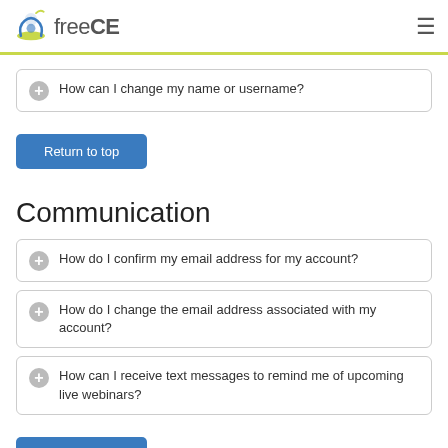freeCE
How can I change my name or username?
Return to top
Communication
How do I confirm my email address for my account?
How do I change the email address associated with my account?
How can I receive text messages to remind me of upcoming live webinars?
Return to top